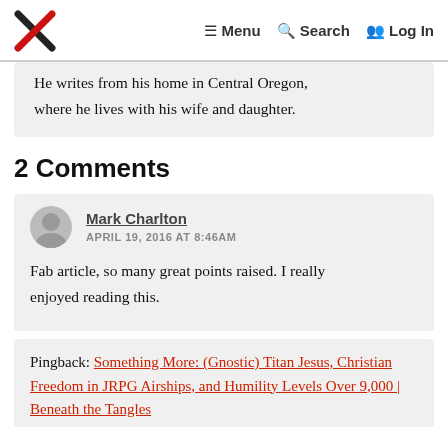Menu  Search  Log In
He writes from his home in Central Oregon, where he lives with his wife and daughter.
2 Comments
Mark Charlton
APRIL 19, 2016 AT 8:46AM
Fab article, so many great points raised. I really enjoyed reading this.
Pingback: Something More: (Gnostic) Titan Jesus, Christian Freedom in JRPG Airships, and Humility Levels Over 9,000 | Beneath the Tangles